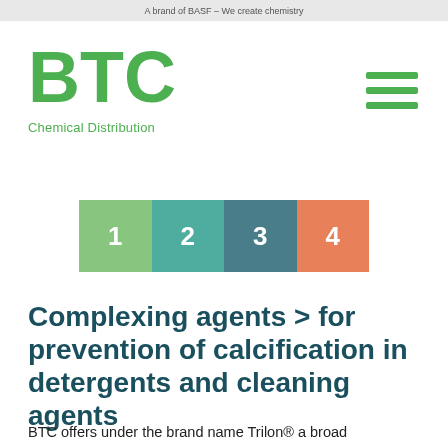A brand of BASF – We create chemistry
[Figure (logo): BTC Chemical Distribution logo in green]
[Figure (infographic): Four-step horizontal progress indicator with steps numbered 1, 2, 3, 4 in green, teal, dark teal, and orange colors]
Complexing agents > for prevention of calcification in detergents and cleaning agents
BTC offers under the brand name Trilon® a broad